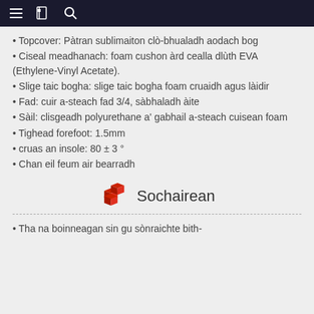≡ [book icon] 🔍
Topcover: Pàtran sublimaiton clò-bhualadh aodach bog
Ciseal meadhanach: foam cushon àrd cealla dlùth EVA (Ethylene-Vinyl Acetate).
Slige taic bogha: slige taic bogha foam cruaidh agus làidir
Fad: cuir a-steach fad 3/4, sàbhaladh àite
Sàil: clisgeadh polyurethane a' gabhail a-steach cuisean foam
Tighead forefoot: 1.5mm
cruas an insole: 80 ± 3 °
Chan eil feum air bearradh
Sochairean
Tha na boinneagan sin gu sònraichte bith-